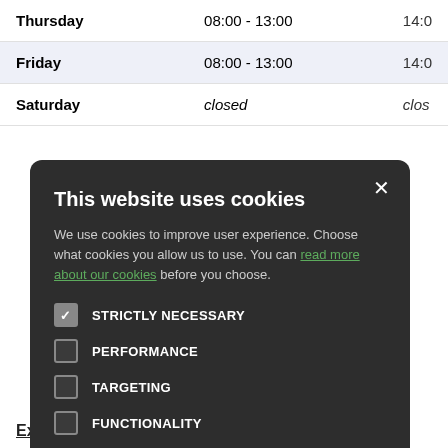| Day | Morning | Afternoon |
| --- | --- | --- |
| Thursday | 08:00 - 13:00 | 14:0… |
| Friday | 08:00 - 13:00 | 14:0… |
| Saturday | closed | clos… |
[Figure (screenshot): Cookie consent modal dialog with dark background. Title: 'This website uses cookies'. Body text about cookies with a green link 'read more about our cookies'. Four checkboxes: STRICTLY NECESSARY (checked), PERFORMANCE, TARGETING, FUNCTIONALITY. Two buttons: ACCEPT ALL (green) and DECLINE ALL (outlined).]
Extend Access